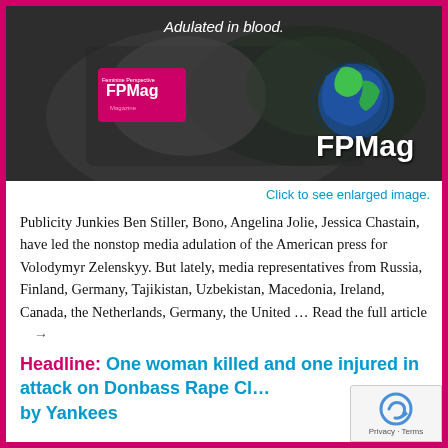[Figure (photo): Dark photo banner showing two people, text 'Adulated in blood.' overlaid, with FPMag logo bottom-left and globe/FPMag branding bottom-right]
Click to see enlarged image.
Publicity Junkies Ben Stiller, Bono, Angelina Jolie, Jessica Chastain, have led the nonstop media adulation of the American press for Volodymyr Zelenskyy. But lately, media representatives from Russia, Finland, Germany, Tajikistan, Uzbekistan, Macedonia, Ireland, Canada, the Netherlands, Germany, the United … Read the full article →
Headline: One woman killed and one injured in attack on Donbass Rape Clinic by Yankees